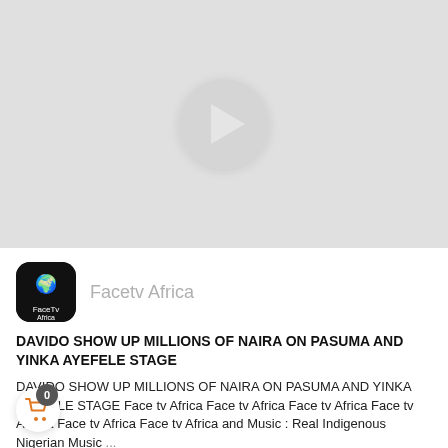[Figure (screenshot): Video thumbnail placeholder — light gray background with a circular play button in the center (gray circle with white play triangle)]
Facetv Africa
DAVIDO SHOW UP MILLIONS OF NAIRA ON PASUMA AND YINKA AYEFELE STAGE
DAVIDO SHOW UP MILLIONS OF NAIRA ON PASUMA AND YINKA AYEFELE STAGE Face tv Africa Face tv Africa Face tv Africa Face tv AFrica Face tv Africa Face tv Africa and Music : Real Indigenous Nigerian Music ...